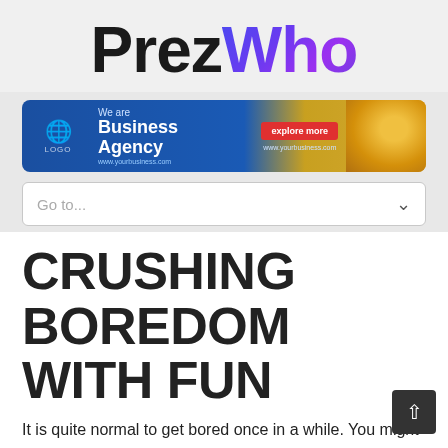[Figure (logo): PrezWho logo — 'Prez' in bold black, 'Who' in purple/blue gradient]
[Figure (infographic): Business Agency advertisement banner with globe logo, blue and gold background, red explore more button]
[Figure (screenshot): Go to... navigation dropdown menu UI element]
CRUSHING BOREDOM WITH FUN
It is quite normal to get bored once in a while. You might be tired of your daily